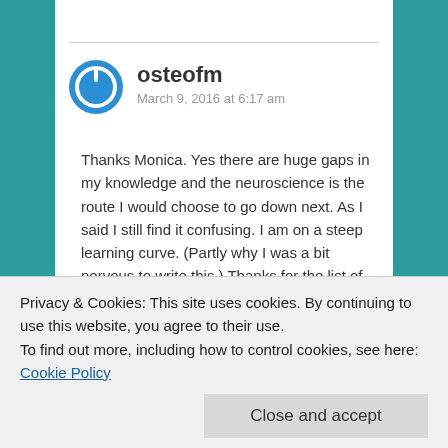[Figure (logo): Blue circular power button icon avatar for user osteofm]
osteofm
March 9, 2016 at 6:17 am
Thanks Monica. Yes there are huge gaps in my knowledge and the neuroscience is the route I would choose to go down next. As I said I still find it confusing. I am on a steep learning curve. (Partly why I was a bit nervous to write this.) Thanks for the list of references. Good to have some thorough scholars out there! Ive read a couple of them
key and works a lot better. does this make it
Privacy & Cookies: This site uses cookies. By continuing to use this website, you agree to their use.
To find out more, including how to control cookies, see here: Cookie Policy
Close and accept